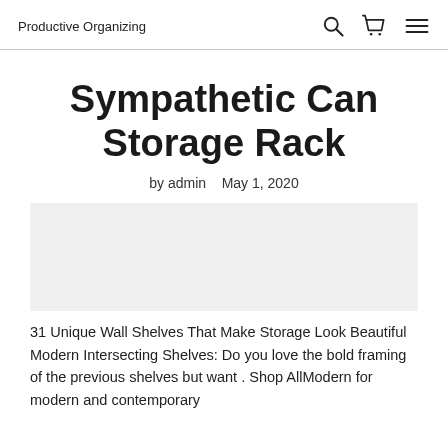Productive Organizing
Sympathetic Can Storage Rack
by admin   May 1, 2020
[Figure (other): Blank image placeholder area]
31 Unique Wall Shelves That Make Storage Look Beautiful Modern Intersecting Shelves: Do you love the bold framing of the previous shelves but want . Shop AllModern for modern and contemporary